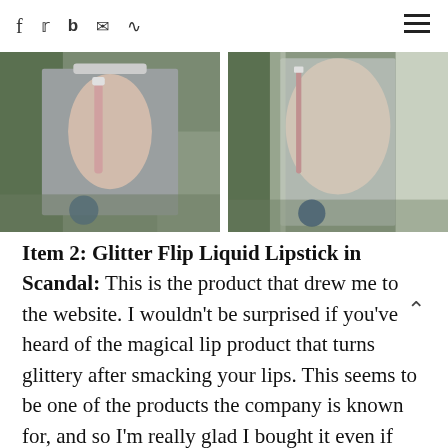Social icons: Facebook, Twitter, Bloglovin, Email, RSS; hamburger menu
[Figure (photo): Two side-by-side photos of a woman holding a glitter lip product outdoors]
Item 2: Glitter Flip Liquid Lipstick in Scandal: This is the product that drew me to the website. I wouldn't be surprised if you've heard of the magical lip product that turns glittery after smacking your lips. This seems to be one of the products the company is known for, and so I'm really glad I bought it even if just to say I tried it! So, the big question is: Does it work? Yes, initially... After having product for 4 months, it seems to have lost its effect?. The first two photos below are before smacking my lips, and the third is after. Even though that photo is blurry, I think you can tell that there isn't much of a difference! Although